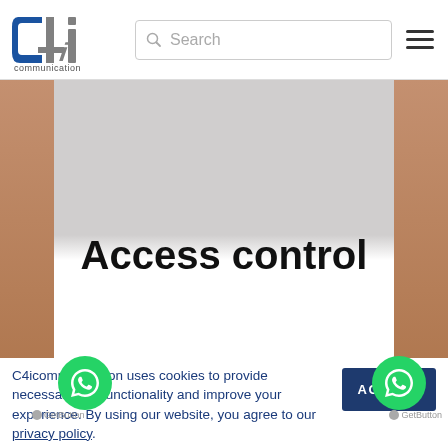[Figure (logo): C4i communication logo — blue and grey stylized C4i text with 'communication' below]
Access control
C4icommunication uses cookies to provide necessary site functionality and improve your experience. By using our website, you agree to our privacy policy.
[Figure (other): ACCEPT button — dark blue rectangle with white bold text ACCEPT]
[Figure (other): WhatsApp floating button on left side — green circle with WhatsApp icon]
[Figure (other): WhatsApp floating button on right side — green circle with WhatsApp icon]
GetButton
GetButton